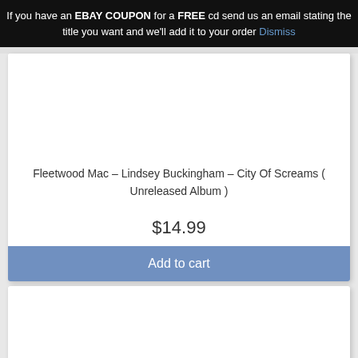If you have an EBAY COUPON for a FREE cd send us an email stating the title you want and we'll add it to your order Dismiss
[Figure (photo): White empty product image area for CD listing]
Fleetwood Mac – Lindsey Buckingham – City Of Screams ( Unreleased Album )
$14.99
Add to cart
[Figure (photo): White empty product image area for second CD listing]